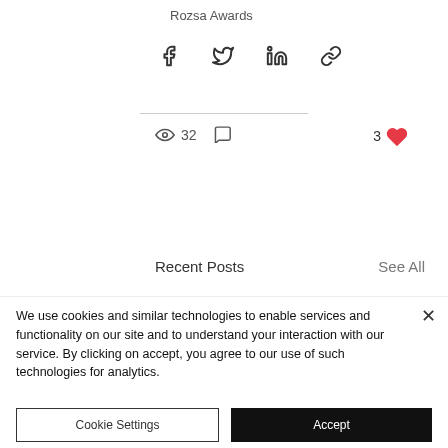Rozsa Awards
[Figure (screenshot): Share icons row: Facebook, Twitter, LinkedIn, link/chain icon]
32 views, 0 comments, 3 likes
Recent Posts
See All
[Figure (photo): Three partially visible photos: blue on left, teal stage performance in center, green on right]
We use cookies and similar technologies to enable services and functionality on our site and to understand your interaction with our service. By clicking on accept, you agree to our use of such technologies for analytics.
Cookie Settings
Accept